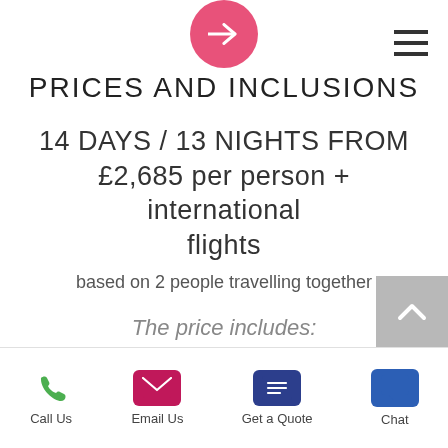PRICES AND INCLUSIONS
14 DAYS / 13 NIGHTS FROM £2,685 per person + international flights
based on 2 people travelling together
The price includes:
Meals daily as listed in the itinerary, (B/L/D)=(Breakfast/Lunch/Dinner), picnic lunches in remote area if required
Hotel accommodation in medium range
Call Us | Email Us | Get a Quote | Chat